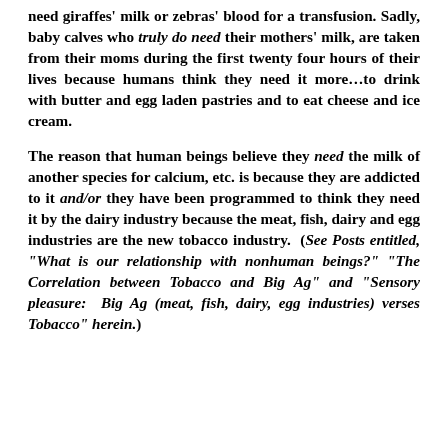need giraffes' milk or zebras' blood for a transfusion. Sadly, baby calves who truly do need their mothers' milk, are taken from their moms during the first twenty four hours of their lives because humans think they need it more…to drink with butter and egg laden pastries and to eat cheese and ice cream.
The reason that human beings believe they need the milk of another species for calcium, etc. is because they are addicted to it and/or they have been programmed to think they need it by the dairy industry because the meat, fish, dairy and egg industries are the new tobacco industry. (See Posts entitled, "What is our relationship with nonhuman beings?" "The Correlation between Tobacco and Big Ag" and "Sensory pleasure: Big Ag (meat, fish, dairy, egg industries) verses Tobacco" herein.)